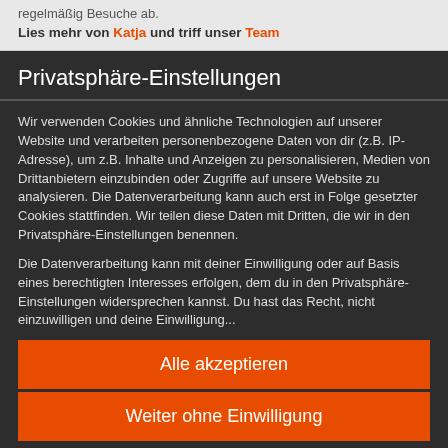regelmäßig Besuche ab.
Lies mehr von Katja und triff unser Team
Privatsphäre-Einstellungen
Wir verwenden Cookies und ähnliche Technologien auf unserer Website und verarbeiten personenbezogene Daten von dir (z.B. IP-Adresse), um z.B. Inhalte und Anzeigen zu personalisieren, Medien von Drittanbietern einzubinden oder Zugriffe auf unsere Website zu analysieren. Die Datenverarbeitung kann auch erst in Folge gesetzter Cookies stattfinden. Wir teilen diese Daten mit Dritten, die wir in den Privatsphäre-Einstellungen benennen.
Die Datenverarbeitung kann mit deiner Einwilligung oder auf Basis eines berechtigten Interesses erfolgen, dem du in den Privatsphäre-Einstellungen widersprechen kannst. Du hast das Recht, nicht einzuwilligen und deine Einwilligung...
Alle akzeptieren
Weiter ohne Einwilligung
Privatsphäre-Einstellungen individuell festlegen
Datenschutzerklärung • Impressum